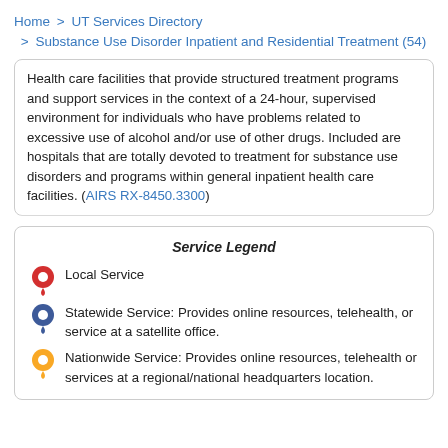Home > UT Services Directory > Substance Use Disorder Inpatient and Residential Treatment (54)
Health care facilities that provide structured treatment programs and support services in the context of a 24-hour, supervised environment for individuals who have problems related to excessive use of alcohol and/or use of other drugs. Included are hospitals that are totally devoted to treatment for substance use disorders and programs within general inpatient health care facilities. (AIRS RX-8450.3300)
Service Legend
Local Service
Statewide Service: Provides online resources, telehealth, or service at a satellite office.
Nationwide Service: Provides online resources, telehealth or services at a regional/national headquarters location.